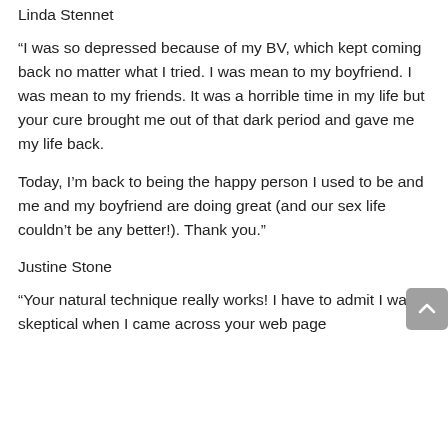Linda Stennet
“I was so depressed because of my BV, which kept coming back no matter what I tried. I was mean to my boyfriend. I was mean to my friends. It was a horrible time in my life but your cure brought me out of that dark period and gave me my life back.
Today, I’m back to being the happy person I used to be and me and my boyfriend are doing great (and our sex life couldn’t be any better!). Thank you.”
Justine Stone
“Your natural technique really works! I have to admit I was skeptical when I came across your web page